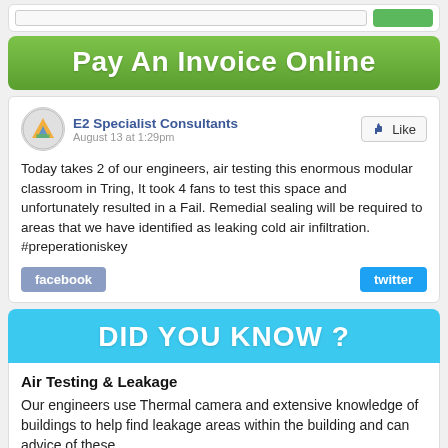[Figure (screenshot): Top bar with input field and green button]
Pay An Invoice Online
E2 Specialist Consultants
August 13 at 1:29pm

Today takes 2 of our engineers, air testing this enormous modular classroom in Tring, It took 4 fans to test this space and unfortunately resulted in a Fail. Remedial sealing will be required to areas that we have identified as leaking cold air infiltration. #preperationiskey
DID YOU KNOW ?
Air Testing & Leakage
Our engineers use Thermal camera and extensive knowledge of buildings to help find leakage areas within the building and can advice of these.